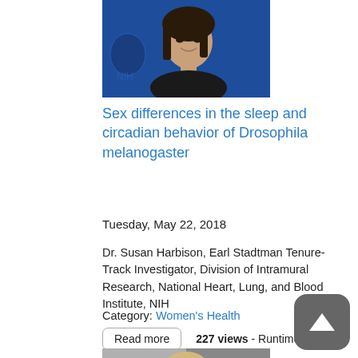[Figure (photo): Portrait photo of a woman with dark hair smiling, wearing black, in front of a blue NIH background]
Sex differences in the sleep and circadian behavior of Drosophila melanogaster
Tuesday, May 22, 2018
Dr. Susan Harbison, Earl Stadtman Tenure-Track Investigator, Division of Intramural Research, National Heart, Lung, and Blood Institute, NIH
Category: Women's Health
Read more   227 views - Runtime: 00:57:40
[Figure (photo): Portrait photo of a woman with short blonde hair and glasses, smiling, wearing yellow/olive top, in front of gray background]